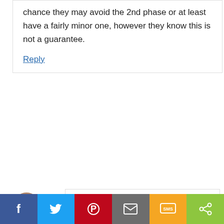chance they may avoid the 2nd phase or at least have a fairly minor one, however they know this is not a guarantee.
Reply
Kevin O'Brien
December 15, 2015 at 7:02 pm
This website uses cookies to ensure you get the best experience on our website. Learn more
Got it!